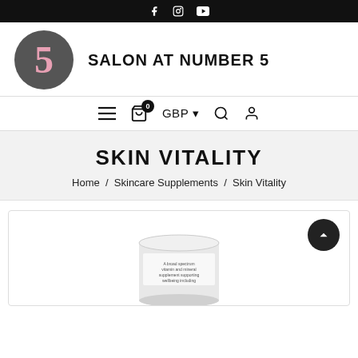Social icons: Facebook, Instagram, YouTube
[Figure (logo): Salon at Number 5 logo: dark grey circle with pink number 5, beside bold text SALON AT NUMBER 5]
[Figure (infographic): Navigation bar with hamburger menu, cart with 0 badge, GBP currency selector, search icon, user icon]
SKIN VITALITY
Home / Skincare Supplements / Skin Vitality
[Figure (photo): Product image of Skin Vitality supplement jar, partially visible at bottom of page]